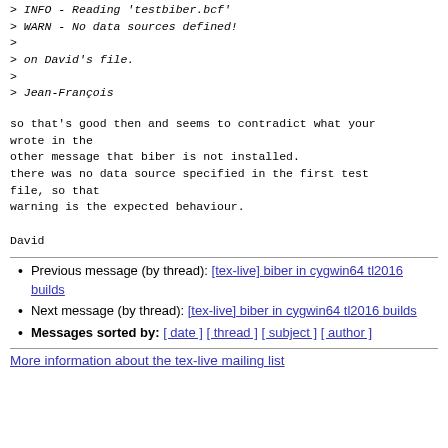> INFO - Reading 'testbiber.bcf'
> WARN - No data sources defined!
>
> on David's file.
>
> Jean-François
so that's good then and seems to contradict what your wrote in the
other message that biber is not installed.
there was no data source specified in the first test file, so that
warning is the expected behaviour.

David
Previous message (by thread): [tex-live] biber in cygwin64 tl2016 builds
Next message (by thread): [tex-live] biber in cygwin64 tl2016 builds
Messages sorted by: [ date ] [ thread ] [ subject ] [ author ]
More information about the tex-live mailing list